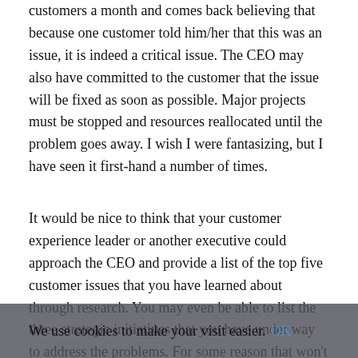customers a month and comes back believing that because one customer told him/her that this was an issue, it is indeed a critical issue. The CEO may also have committed to the customer that the issue will be fixed as soon as possible. Major projects must be stopped and resources reallocated until the problem goes away. I wish I were fantasizing, but I have seen it first-hand a number of times.
It would be nice to think that your customer experience leader or another executive could approach the CEO and provide a list of the top five customer issues that you have learned about through research. You may even be able to list the three strategic initiatives that you have under way to address the problems. For some reason that won't matter. The CEO's mind.
We use cookies to make your visit easier. OK